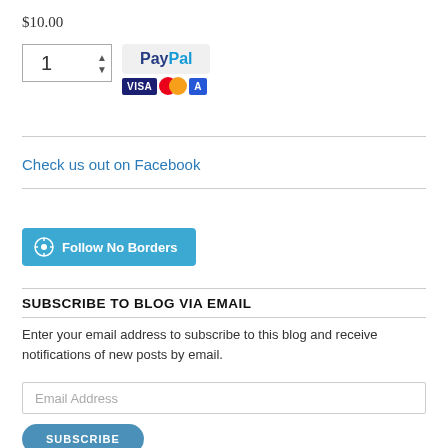$10.00
[Figure (screenshot): Quantity selector box with value 1 and up/down arrows, alongside PayPal button and payment card icons (Visa, Mastercard, Amex)]
Check us out on Facebook
[Figure (screenshot): WordPress Follow No Borders button in blue]
SUBSCRIBE TO BLOG VIA EMAIL
Enter your email address to subscribe to this blog and receive notifications of new posts by email.
Email Address
SUBSCRIBE